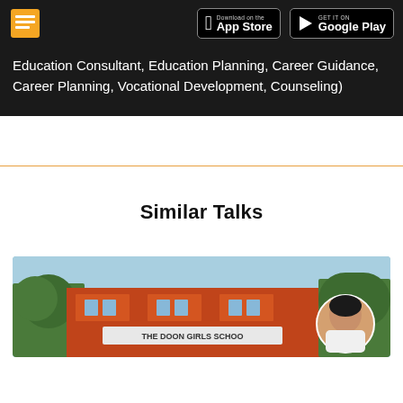App Store / Google Play header with document icon
Education Consultant, Education Planning, Career Guidance, Career Planning, Vocational Development, Counseling)
Similar Talks
[Figure (photo): Thumbnail image showing The Doon Girls School building exterior (red/orange building) with trees and a woman's portrait overlaid in the lower right corner]